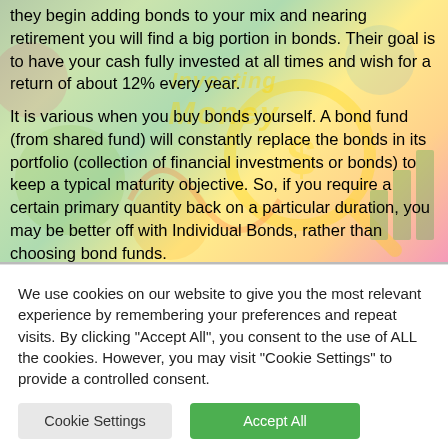[Figure (illustration): Colorful investing/money themed background illustration with coins, magnifying glass, charts, and the text 'Investing Money' overlaid. Serves as background for the article text.]
they begin adding bonds to your mix and nearing retirement you will find a big portion in bonds. Their goal is to have your cash fully invested at all times and wish for a return of about 12% every year.
It is various when you buy bonds yourself. A bond fund (from shared fund) will constantly replace the bonds in its portfolio (collection of financial investments or bonds) to keep a typical maturity objective. So, if you require a certain primary quantity back on a particular duration, you may be better off with Individual Bonds, rather than choosing bond funds.
We use cookies on our website to give you the most relevant experience by remembering your preferences and repeat visits. By clicking "Accept All", you consent to the use of ALL the cookies. However, you may visit "Cookie Settings" to provide a controlled consent.